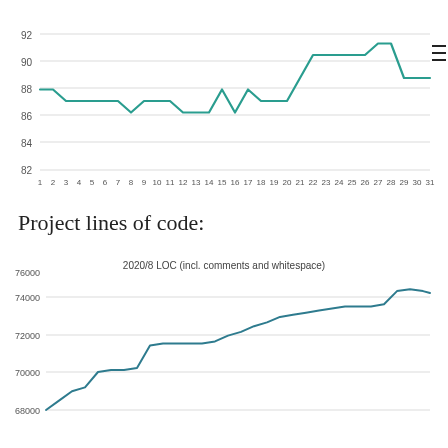[Figure (line-chart): ]
Project lines of code:
[Figure (line-chart): 2020/8 LOC (incl. comments and whitespace)]